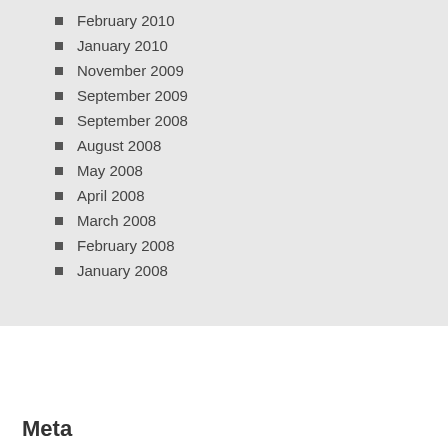February 2010
January 2010
November 2009
September 2009
September 2008
August 2008
May 2008
April 2008
March 2008
February 2008
January 2008
Meta